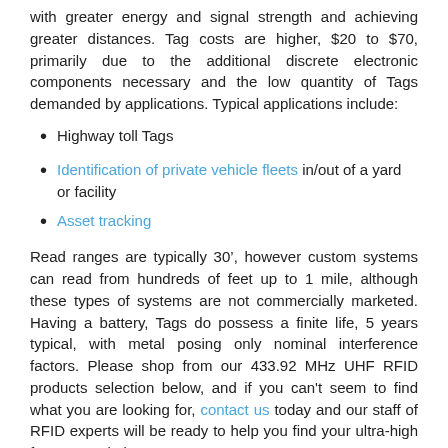with greater energy and signal strength and achieving greater distances. Tag costs are higher, $20 to $70, primarily due to the additional discrete electronic components necessary and the low quantity of Tags demanded by applications. Typical applications include:
Highway toll Tags
Identification of private vehicle fleets in/out of a yard or facility
Asset tracking
Read ranges are typically 30’, however custom systems can read from hundreds of feet up to 1 mile, although these types of systems are not commercially marketed. Having a battery, Tags do possess a finite life, 5 years typical, with metal posing only nominal interference factors. Please shop from our 433.92 MHz UHF RFID products selection below, and if you can't seem to find what you are looking for, contact us today and our staff of RFID experts will be ready to help you find your ultra-high frequncy solution.